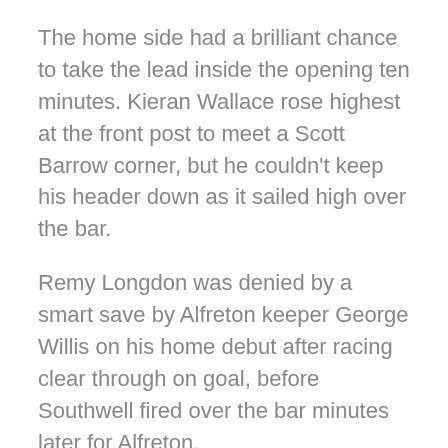The home side had a brilliant chance to take the lead inside the opening ten minutes. Kieran Wallace rose highest at the front post to meet a Scott Barrow corner, but he couldn't keep his header down as it sailed high over the bar.
Remy Longdon was denied by a smart save by Alfreton keeper George Willis on his home debut after racing clear through on goal, before Southwell fired over the bar minutes later for Alfreton.
Longdon was again denied by Willis after 18 minutes by another smart save from the edge of the area, before Barrow had a low effort saved after cutting inside to shoot on his right foot.
City continued to look for a goal that would break the deadlock and captain Sean Newton went close when he fired over the bar on the edge of the penalty area, before Mark Beck headed over the bar from point-blank range after connecting with a cross in from